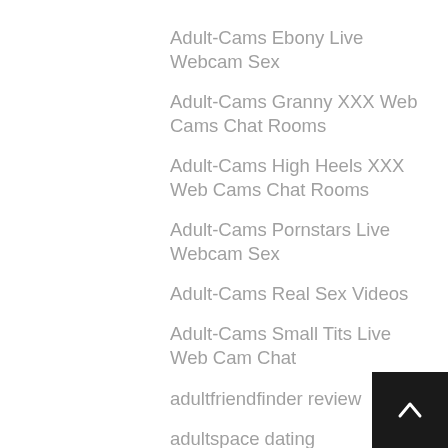Adult-Cams Ebony Live Webcam Sex
Adult-Cams Granny XXX Web Cams Chat Rooms
Adult-Cams High Heels XXX Web Cams Chat Rooms
Adult-Cams Pornstars Live Webcam Sex
Adult-Cams Real Sex Videos
Adult-Cams Small Tits Live Web Cam Chat
adultfriendfinder review
adultspace dating
advance financial 247 best online payday loans
advance financial 247 payday loan online
advance payday loan